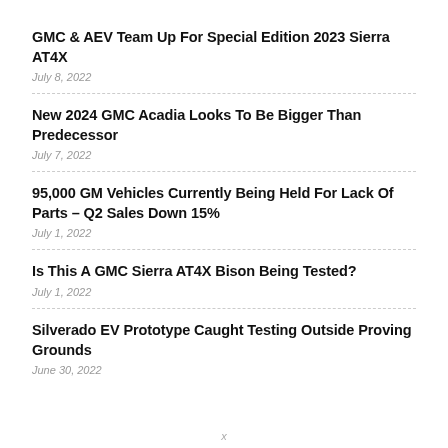GMC & AEV Team Up For Special Edition 2023 Sierra AT4X
July 8, 2022
New 2024 GMC Acadia Looks To Be Bigger Than Predecessor
July 7, 2022
95,000 GM Vehicles Currently Being Held For Lack Of Parts – Q2 Sales Down 15%
July 1, 2022
Is This A GMC Sierra AT4X Bison Being Tested?
July 1, 2022
Silverado EV Prototype Caught Testing Outside Proving Grounds
June 30, 2022